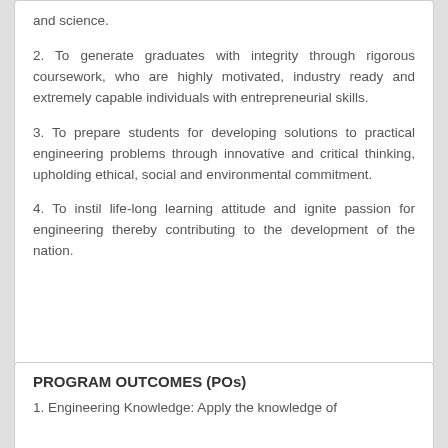and science.
2. To generate graduates with integrity through rigorous coursework, who are highly motivated, industry ready and extremely capable individuals with entrepreneurial skills.
3. To prepare students for developing solutions to practical engineering problems through innovative and critical thinking, upholding ethical, social and environmental commitment.
4. To instil life-long learning attitude and ignite passion for engineering thereby contributing to the development of the nation.
PROGRAM OUTCOMES (POs)
1. Engineering Knowledge: Apply the knowledge of